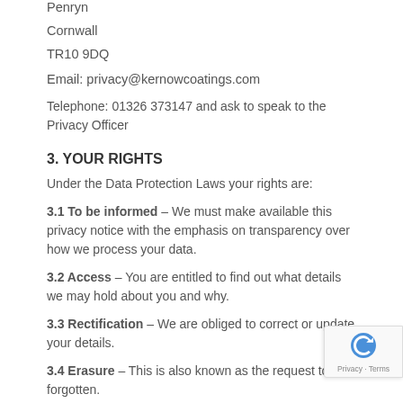Penryn
Cornwall
TR10 9DQ
Email: privacy@kernowcoatings.com
Telephone: 01326 373147 and ask to speak to the Privacy Officer
3. YOUR RIGHTS
Under the Data Protection Laws your rights are:
3.1 To be informed – We must make available this privacy notice with the emphasis on transparency over how we process your data.
3.2 Access – You are entitled to find out what details we may hold about you and why.
3.3 Rectification – We are obliged to correct or update your details.
3.4 Erasure – This is also known as the request to be forgotten.